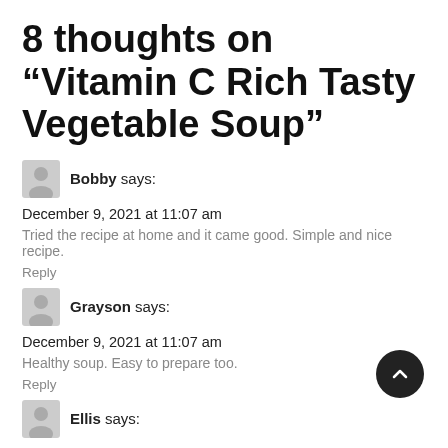8 thoughts on “Vitamin C Rich Tasty Vegetable Soup”
Bobby says:
December 9, 2021 at 11:07 am
Tried the recipe at home and it came good. Simple and nice recipe.
Reply
Grayson says:
December 9, 2021 at 11:07 am
Healthy soup. Easy to prepare too.
Reply
Ellis says:
December 9, 2021 at 11:08 am
Interesting recipe